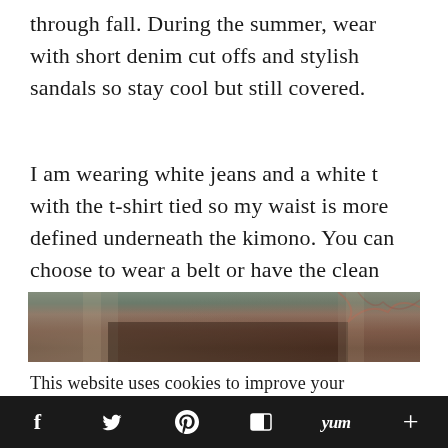through fall. During the summer, wear with short denim cut offs and stylish sandals so stay cool but still covered.
I am wearing white jeans and a white t with the t-shirt tied so my waist is more defined underneath the kimono. You can choose to wear a belt or have the clean white line all the way down.
[Figure (photo): Partial photo of an outdoor scene showing brick architecture and foliage, cropped at top portion]
This website uses cookies to improve your experience. We'll assume you're ok with this, but you can opt-out if
f  y  p  m  Yum  +